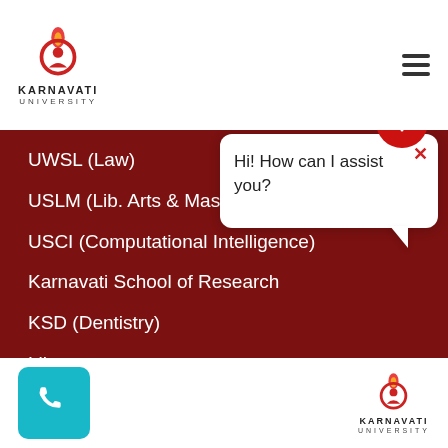Karnavati University
UWSL (Law)
USLM (Lib. Arts & Mass Comm.)
USCI (Computational Intelligence)
Karnavati School of Research
KSD (Dentistry)
Library
QUICK LINKS
Hi! How can I assist you?
Karnavati University